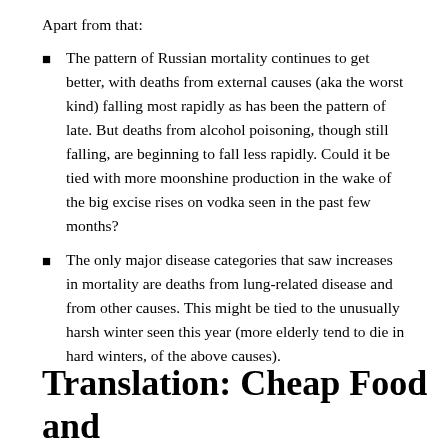Apart from that:
The pattern of Russian mortality continues to get better, with deaths from external causes (aka the worst kind) falling most rapidly as has been the pattern of late. But deaths from alcohol poisoning, though still falling, are beginning to fall less rapidly. Could it be tied with more moonshine production in the wake of the big excise rises on vodka seen in the past few months?
The only major disease categories that saw increases in mortality are deaths from lung-related disease and from other causes. This might be tied to the unusually harsh winter seen this year (more elderly tend to die in hard winters, of the above causes).
Translation: Cheap Food and